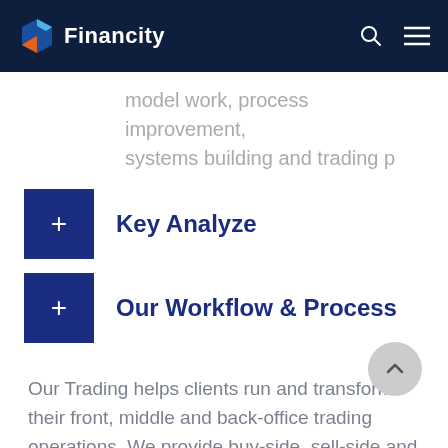Financity
...g p model work, process improvement, systems building and trading p
Key Analyze
Our Workflow & Process
Our Trading helps clients run and transform their front, middle and back-office trading operations. We provide buy-side, sell-side and market infrastructure firms with a full-service offering,